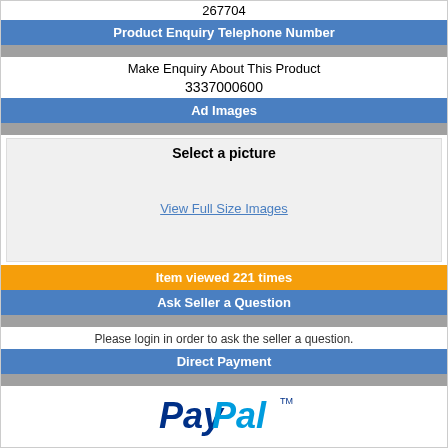267704
Product Enquiry Telephone Number
Make Enquiry About This Product
3337000600
Ad Images
Select a picture
View Full Size Images
Item viewed 221 times
Ask Seller a Question
Please login in order to ask the seller a question.
Direct Payment
[Figure (logo): PayPal logo in blue italic text with TM symbol]
PayPal
[Figure (logo): Credit card logos: MasterCard, VISA, American Express, Discover]
Credit Card Payment